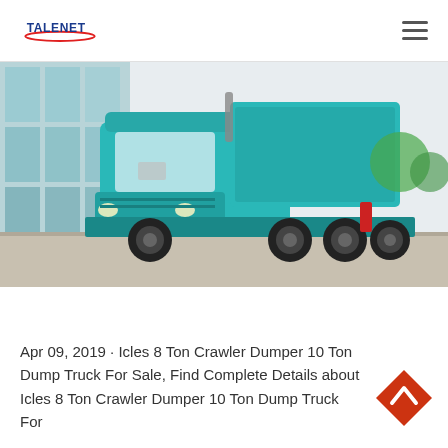TALENET
[Figure (photo): A teal/turquoise Sinotruk HOWO dump truck parked in front of a glass building, viewed from a front-left angle. The truck has a large dump bed raised slightly and multiple rear axles.]
Apr 09, 2019 · Icles 8 Ton Crawler Dumper 10 Ton Dump Truck For Sale, Find Complete Details about Icles 8 Ton Crawler Dumper 10 Ton Dump Truck For